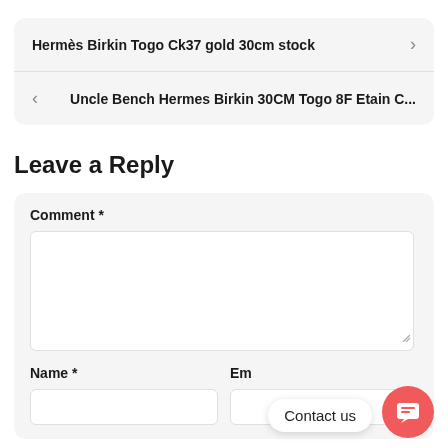Hermès Birkin Togo Ck37 gold 30cm stock
Uncle Bench Hermes Birkin 30CM Togo 8F Etain C...
Leave a Reply
Comment *
Name *
Em
Contact us